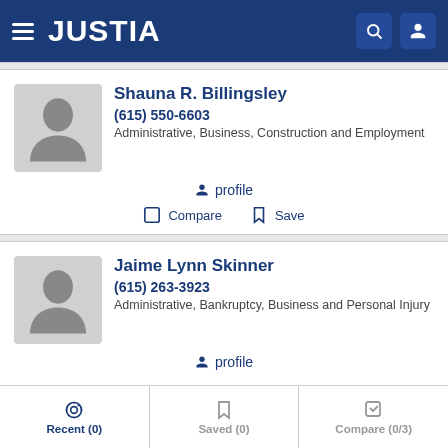JUSTIA
Shauna R. Billingsley
(615) 550-6603
Administrative, Business, Construction and Employment
profile
Compare  Save
Jaime Lynn Skinner
(615) 263-3923
Administrative, Bankruptcy, Business and Personal Injury
profile
Recent (0)  Saved (0)  Compare (0/3)